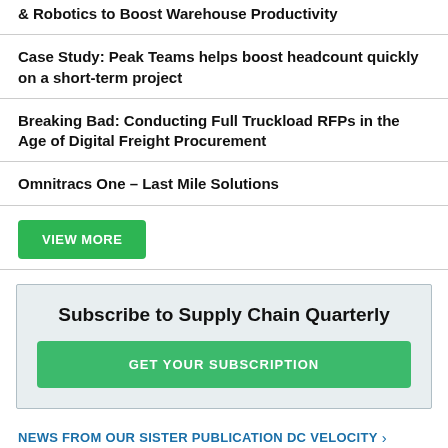& Robotics to Boost Warehouse Productivity
Case Study: Peak Teams helps boost headcount quickly on a short-term project
Breaking Bad: Conducting Full Truckload RFPs in the Age of Digital Freight Procurement
Omnitracs One – Last Mile Solutions
VIEW MORE
Subscribe to Supply Chain Quarterly
GET YOUR SUBSCRIPTION
NEWS FROM OUR SISTER PUBLICATION DC VELOCITY >
Shoppers, get ready, set, go!